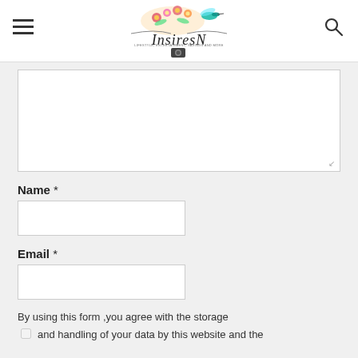InsiresN website header with hamburger menu, logo, and search icon
[Figure (logo): InsiresN blog logo with floral and hummingbird illustration above stylized cursive text]
Name *
Email *
By using this form ,you agree with the storage and handling of your data by this website and the